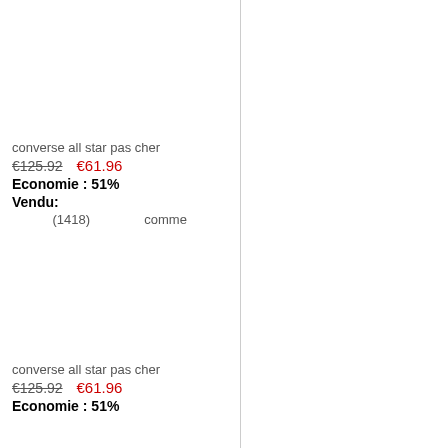converse all star pas cher
€125.92  €61.96
Economie : 51%
Vendu:
(1418)   comme
converse all star pas cher
€125.92  €61.96
Economie : 51%